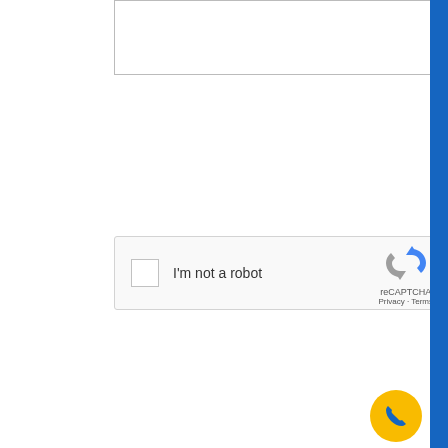[Figure (screenshot): Textarea input box (partially visible at top of page) with resize handle in bottom-right corner]
[Figure (screenshot): reCAPTCHA widget with checkbox, 'I'm not a robot' label, reCAPTCHA logo, Privacy and Terms links]
Send email
[Figure (illustration): Yellow circular phone FAB button with blue telephone handset icon in bottom-right corner, and blue vertical strip on far right edge]